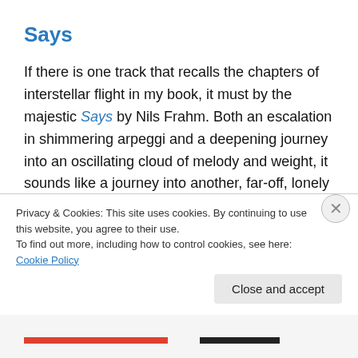Says
If there is one track that recalls the chapters of interstellar flight in my book, it must by the majestic Says by Nils Frahm. Both an escalation in shimmering arpeggi and a deepening journey into an oscillating cloud of melody and weight, it sounds like a journey into another, far-off, lonely and beautiful place. The rest of his album, Spaces, is lovely, but this track stands out with its unfurling grandeur. And who knows how many words I typed – of lonely Tarka and his spirit guide Kim, crossing the gulf of the cosmos –
Privacy & Cookies: This site uses cookies. By continuing to use this website, you agree to their use.
To find out more, including how to control cookies, see here: Cookie Policy
Close and accept